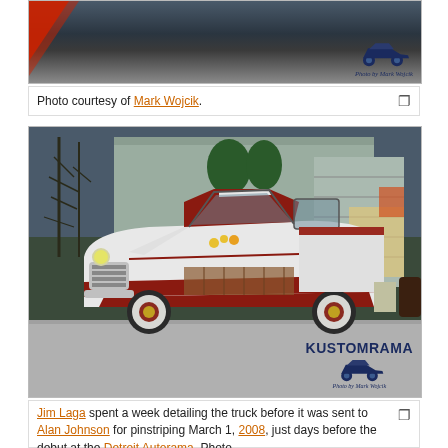[Figure (photo): Top partial photo strip showing watermark with Kustomrama logo car illustration and 'Photo by Mark Wojcik' text, with a red diagonal element at left]
Photo courtesy of Mark Wojcik.
[Figure (photo): Custom 1950s pickup truck, red and white two-tone paint with pinstripes and whitewall tires, parked in front of a metal building/garage. Kustomrama watermark with car illustration and 'Photo by Mark Wojcik' in lower right.]
Jim Laga spent a week detailing the truck before it was sent to Alan Johnson for pinstriping March 1, 2008, just days before the debut at the Detroit Autorama. Photo